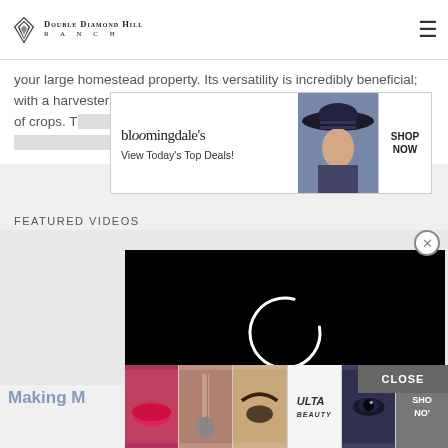Double Diamond Hill Ranch
your large homestead property. Its versatility is incredibly beneficial; with a harvester, you can winnow, thresh, and harvest a large number of crops. T… ing you time and m… stead.
[Figure (screenshot): Bloomingdale's advertisement banner: 'bloomingdales View Today's Top Deals!' with a woman in a wide-brimmed hat and a 'SHOP NOW' button]
FEATURED VIDEOS
[Figure (screenshot): Video player popup with black background showing a white circular loading spinner, with an X close button in the top right]
Making M
[Figure (screenshot): Ulta Beauty advertisement strip with thumbnail images of makeup looks, lips, brushes, eyebrows, Ulta Beauty logo, eyes, and a 'SHOP NOW' button. CLOSE button above.]